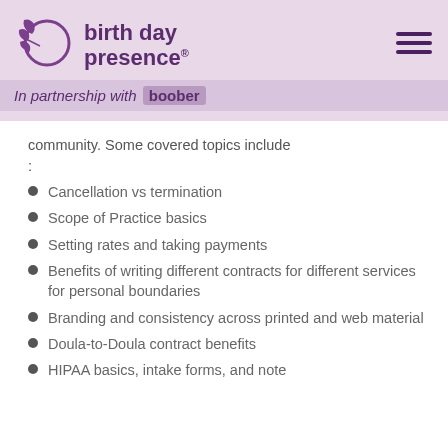[Figure (logo): Birth Day Presence logo with circular flower/leaf emblem and text 'birth day presence']
In partnership with boober
community. Some covered topics include :
Cancellation vs termination
Scope of Practice basics
Setting rates and taking payments
Benefits of writing different contracts for different services for personal boundaries
Branding and consistency across printed and web material
Doula-to-Doula contract benefits
HIPAA basics, intake forms, and note